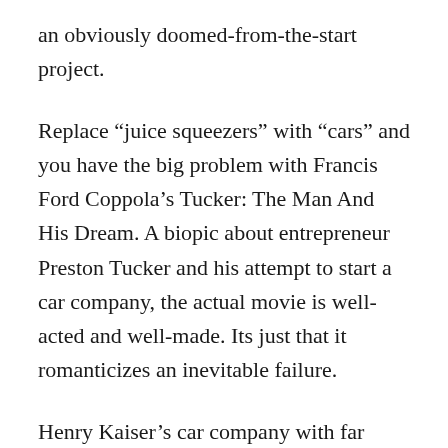an obviously doomed-from-the-start project.
Replace “juice squeezers” with “cars” and you have the big problem with Francis Ford Coppola’s Tucker: The Man And His Dream. A biopic about entrepreneur Preston Tucker and his attempt to start a car company, the actual movie is well-acted and well-made. Its just that it romanticizes an inevitable failure.
Henry Kaiser’s car company with far more resources only succeeded in the gargantuan seller’s market that was the immediate postwar period (when there was a ridiculous amount of pent-up demand). Then it became the second of four Jeep Zombies. And Kaiser knew a thing or two about supply chains, which let him take